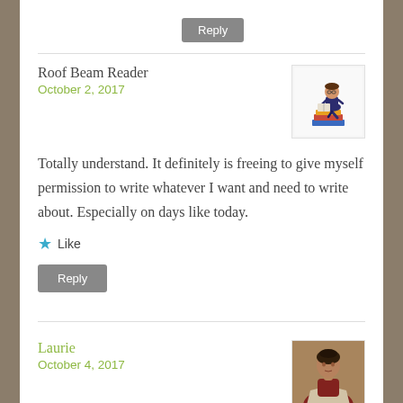Reply
Roof Beam Reader
October 2, 2017
[Figure (illustration): Cartoon avatar of a person sitting on a stack of books reading]
Totally understand. It definitely is freeing to give myself permission to write whatever I want and need to write about. Especially on days like today.
Like
Reply
Laurie
October 4, 2017
[Figure (photo): Portrait photo of a woman in historical style]
These are wonderful changes to the thoughts and circumstances in your life. I just went